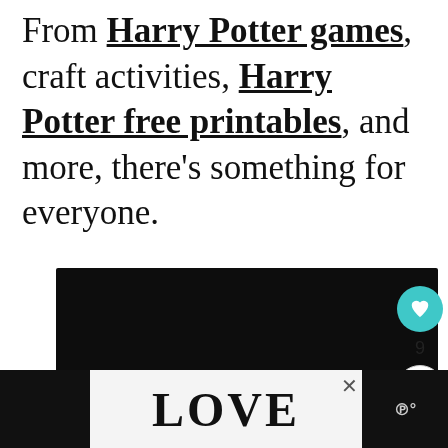From Harry Potter games, craft activities, Harry Potter free printables, and more, there's something for everyone.
[Figure (other): Dark/black advertisement banner strip]
[Figure (other): UI sidebar with heart/save button (teal circle with heart icon), count of 9, and share button]
[Figure (other): What's Next promo box with thumbnail and text: Harry Potter Party Games]
[Figure (other): Bottom advertisement bar with LOVE decorative text/logo on light background, flanked by black bars and a close X button]